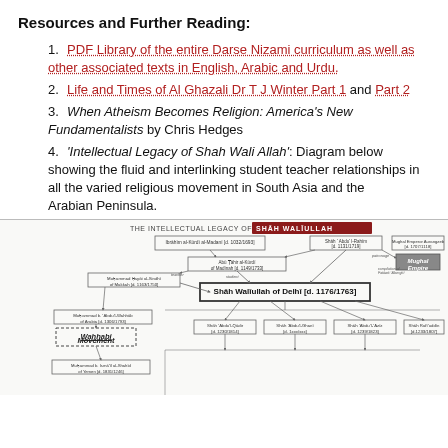Resources and Further Reading:
PDF Library of the entire Darse Nizami curriculum as well as other associated texts in English, Arabic and Urdu.
Life and Times of Al Ghazali Dr T J Winter Part 1 and Part 2
When Atheism Becomes Religion: America's New Fundamentalists by Chris Hedges
'Intellectual Legacy of Shah Wali Allah': Diagram below showing the fluid and interlinking student teacher relationships in all the varied religious movement in South Asia and the Arabian Peninsula.
[Figure (flowchart): The Intellectual Legacy of Shah Waliullah — a flowchart showing teacher-student relationships across various Islamic scholarly figures and movements including Shah Waliullah of Delhi, Wahhabi Movement, Mughal Empire, and connected scholars.]